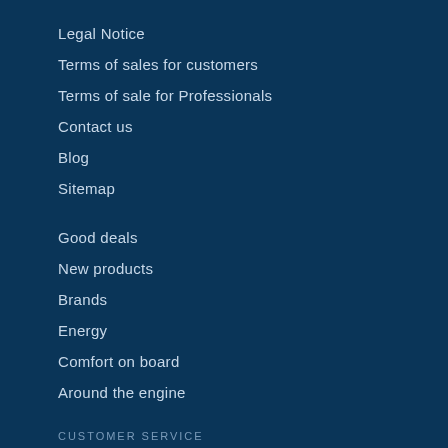Legal Notice
Terms of sales for customers
Terms of sale for Professionals
Contact us
Blog
Sitemap
Good deals
New products
Brands
Energy
Comfort on board
Around the engine
CUSTOMER SERVICE